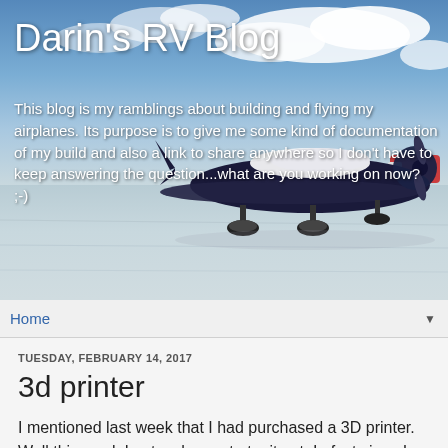[Figure (photo): Header photo of a small blue and white airplane on a snowy tarmac with a blue sky and clouds in the background. The blog title and subtitle are overlaid on the image.]
Darin's RV Blog
This blog is my ramblings about building and flying my airplanes. Its purpose is to give me some kind of documentation of my build and also a link to share anywhere so I don't have to keep answering the question...what are you working on now? ;-)
Home
TUESDAY, FEBRUARY 14, 2017
3d printer
I mentioned last week that I had purchased a 3D printer.  Well this week I got a chance to try it out.  In fact since I purchased it its been printing day and night!  I'm pretty impressed with it but it did come with two broken plastic clips that hold the bed down.  I emailed their support and they